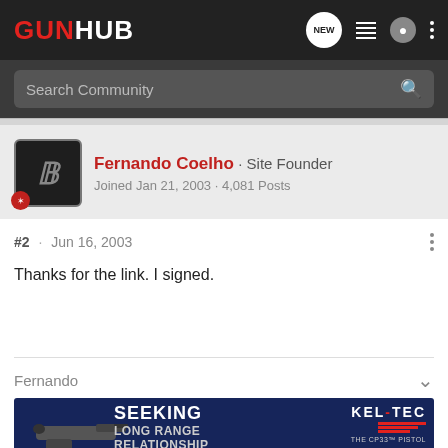GUNHUB
Search Community
Fernando Coelho · Site Founder
Joined Jan 21, 2003 · 4,081 Posts
#2 · Jun 16, 2003
Thanks for the link. I signed.
Fernando
[Figure (screenshot): Kel-Tec CP33 pistol advertisement banner: SEEKING LONG RANGE RELATIONSHIP THE CP33 PISTOL]